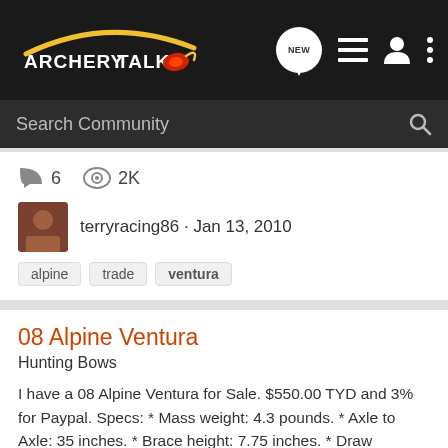ArcheryTalk
Search Community
6  2K
terryracing86 · Jan 13, 2010
alpine
trade
ventura
08 Alpine Ventura
Hunting Bows
I have a 08 Alpine Ventura for Sale. $550.00 TYD and 3% for Paypal. Specs: * Mass weight: 4.3 pounds. * Axle to Axle: 35 inches. * Brace height: 7.75 inches. * Draw weights: 60, 70 pounds. This is a 60 pound bow * Cam: New Velocitec Cam. * Draw lengths: 28", 29", 30, 31" Draw length is set at...
18  1K
Vdrumright · Mar 14, 2009